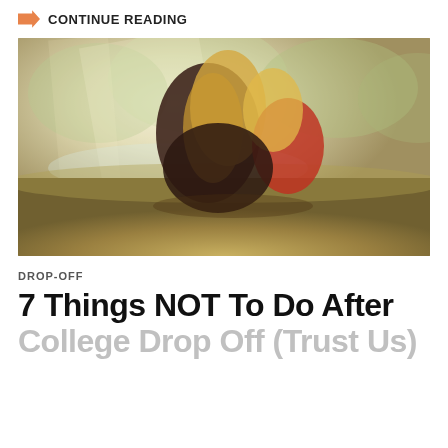CONTINUE READING
[Figure (photo): Two people, viewed from behind, sitting together on grass in a sunlit outdoor setting. One person has long blonde hair and is wearing red, the other is wearing dark clothing. They appear to be embracing. Soft bokeh background with trees and water.]
DROP-OFF
7 Things NOT To Do After College Drop Off (Trust Us)